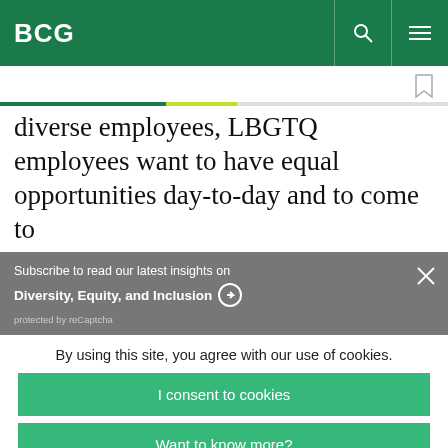BCG
diverse employees, LBGTQ employees want to have equal opportunities day-to-day and to come to
Subscribe to read our latest insights on Diversity, Equity, and Inclusion
protected by reCaptcha
By using this site, you agree with our use of cookies.
I consent to cookies
Want to know more?
Read our Cookie Policy